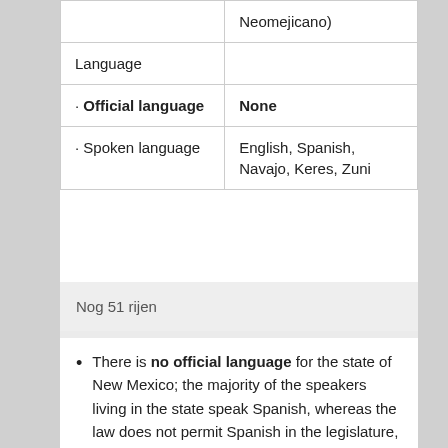|  | Neomejicano) |
| Language |  |
| · Official language | None |
| · Spoken language | English, Spanish, Navajo, Keres, Zuni |
Nog 51 rijen
There is no official language for the state of New Mexico; the majority of the speakers living in the state speak Spanish, whereas the law does not permit Spanish in the legislature, and thus cannot be considered a bilingual state. However, Spanish is recognised and public education can be delivered in either Spanish or